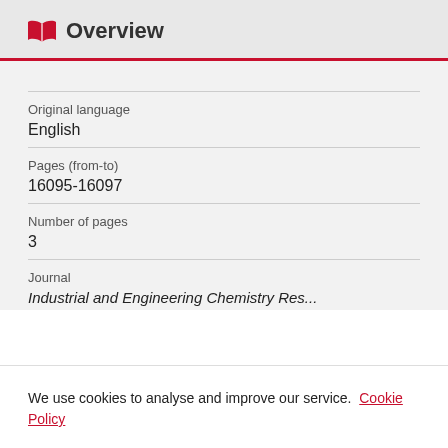Overview
| Field | Value |
| --- | --- |
| Original language | English |
| Pages (from-to) | 16095-16097 |
| Number of pages | 3 |
| Journal | Industrial and Engineering Chemistry Res... |
We use cookies to analyse and improve our service. Cookie Policy